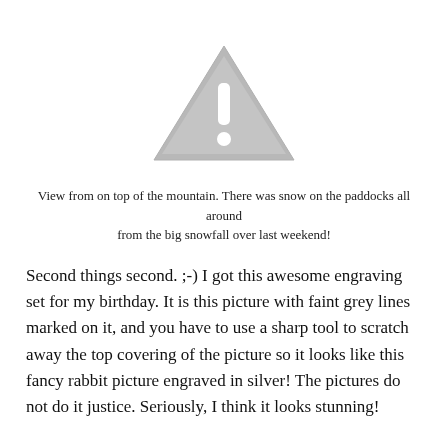[Figure (other): A grey triangle warning/alert icon with a white exclamation mark inside, styled as a placeholder image icon.]
View from on top of the mountain. There was snow on the paddocks all around from the big snowfall over last weekend!
Second things second. ;-) I got this awesome engraving set for my birthday. It is this picture with faint grey lines marked on it, and you have to use a sharp tool to scratch away the top covering of the picture so it looks like this fancy rabbit picture engraved in silver! The pictures do not do it justice. Seriously, I think it looks stunning!